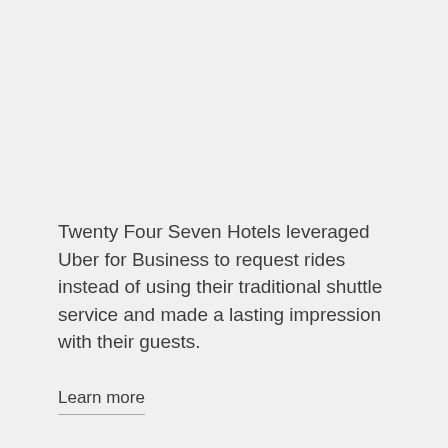Twenty Four Seven Hotels leveraged Uber for Business to request rides instead of using their traditional shuttle service and made a lasting impression with their guests.
Learn more